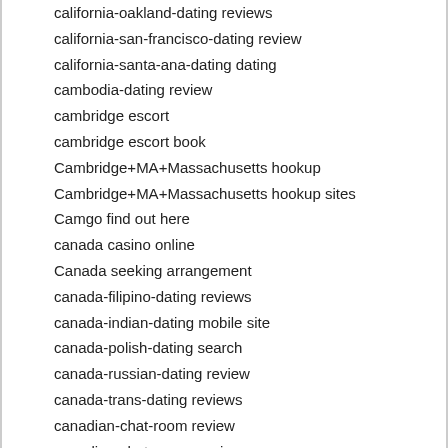california-oakland-dating reviews
california-san-francisco-dating review
california-santa-ana-dating dating
cambodia-dating review
cambridge escort
cambridge escort book
Cambridge+MA+Massachusetts hookup
Cambridge+MA+Massachusetts hookup sites
Camgo find out here
canada casino online
Canada seeking arrangement
canada-filipino-dating reviews
canada-indian-dating mobile site
canada-polish-dating search
canada-russian-dating review
canada-trans-dating reviews
canadian-chat-room review
canadian-chat-rooms reviews
Canberra+Australia hookup sites
cape coral hookup